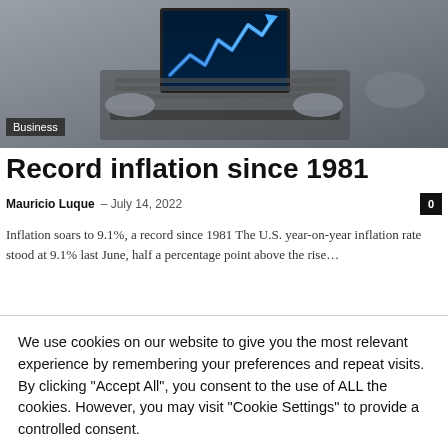[Figure (photo): Black and white photo of a person typing on a laptop keyboard. The laptop screen shows a blue upward trending stock market chart icon on a dark background. A person's hand is visible on the right side.]
Business
Record inflation since 1981
Mauricio Luque – July 14, 2022
Inflation soars to 9.1%, a record since 1981 The U.S. year-on-year inflation rate stood at 9.1% last June, half a percentage point above the rise…
We use cookies on our website to give you the most relevant experience by remembering your preferences and repeat visits. By clicking "Accept All", you consent to the use of ALL the cookies. However, you may visit "Cookie Settings" to provide a controlled consent.